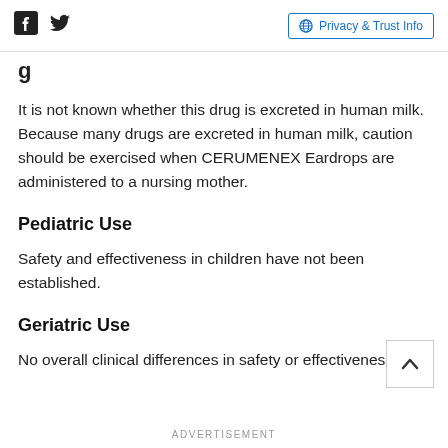Facebook Twitter | Privacy & Trust Info
g
It is not known whether this drug is excreted in human milk. Because many drugs are excreted in human milk, caution should be exercised when CERUMENEX Eardrops are administered to a nursing mother.
Pediatric Use
Safety and effectiveness in children have not been established.
Geriatric Use
No overall clinical differences in safety or effectiveness
ADVERTISEMENT